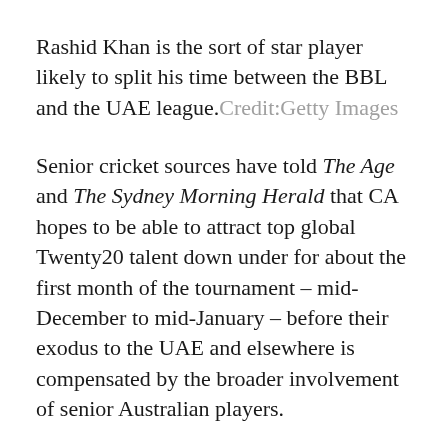Rashid Khan is the sort of star player likely to split his time between the BBL and the UAE league. Credit:Getty Images
Senior cricket sources have told The Age and The Sydney Morning Herald that CA hopes to be able to attract top global Twenty20 talent down under for about the first month of the tournament – mid-December to mid-January – before their exodus to the UAE and elsewhere is compensated by the broader involvement of senior Australian players.